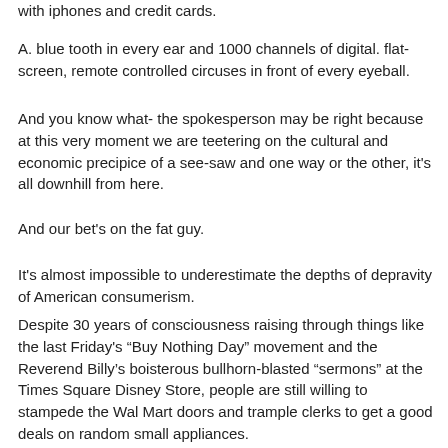with iphones and credit cards.
A. blue tooth in every ear and 1000 channels of digital. flat-screen, remote controlled circuses in front of every eyeball.
And you know what- the spokesperson may be right because at this very moment we are teetering on the cultural and economic precipice of a see-saw and one way or the other, it's all downhill from here.
And our bet's on the fat guy.
It's almost impossible to underestimate the depths of depravity of American consumerism.
Despite 30 years of consciousness raising through things like the last Friday's “Buy Nothing Day” movement and the Reverend Billy’s boisterous bullhorn-blasted “sermons” at the Times Square Disney Store, people are still willing to stampede the Wal Mart doors and trample clerks to get a good deals on random small appliances.